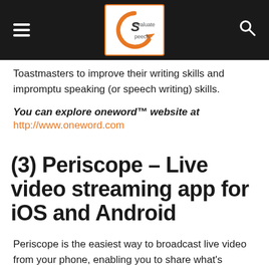Evaluate Speech
Toastmasters to improve their writing skills and impromptu speaking (or speech writing) skills.
You can explore oneword™ website at
http://www.oneword.com
(3) Periscope – Live video streaming app for iOS and Android
Periscope is the easiest way to broadcast live video from your phone, enabling you to share what's happening around you –